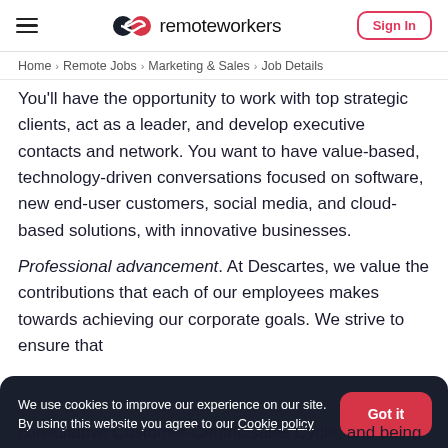remoteworkers — Sign In
Home > Remote Jobs > Marketing & Sales > Job Details
You'll have the opportunity to work with top strategic clients, act as a leader, and develop executive contacts and network. You want to have value-based, technology-driven conversations focused on software, new end-user customers, social media, and cloud-based solutions, with innovative businesses.
Professional advancement. At Descartes, we value the contributions that each of our employees makes towards achieving our corporate goals. We strive to ensure that
We use cookies to improve our experience on our site. By using this website you agree to our Cookie policy
consultative Customer-Centric sales Cycle, and being